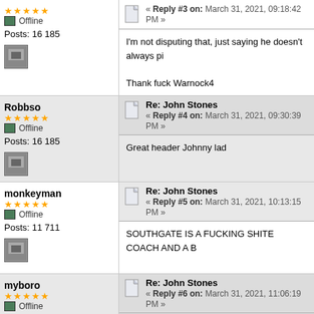Posts: 16 185
I'm not disputing that, just saying he doesn't always pi
Thank fuck Warnock4
Robbso
Re: John Stones
« Reply #4 on: March 31, 2021, 09:30:39 PM »
Posts: 16 185
Great header Johnny lad
monkeyman
Re: John Stones
« Reply #5 on: March 31, 2021, 10:13:15 PM »
Posts: 11 711
SOUTHGATE IS A FUCKING SHITE COACH AND A B
myboro
Re: John Stones
« Reply #6 on: March 31, 2021, 11:06:19 PM »
Posts: 1 001
Quote from: Robbso on March 31, 2021, 09:30:39 PM